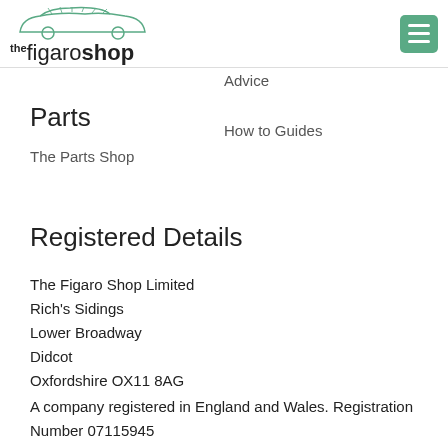[Figure (logo): The Figaro Shop logo with car outline illustration and text 'thefigaroshop']
Advice
Parts
How to Guides
The Parts Shop
Registered Details
The Figaro Shop Limited
Rich's Sidings
Lower Broadway
Didcot
Oxfordshire OX11 8AG
A company registered in England and Wales. Registration Number 07115945